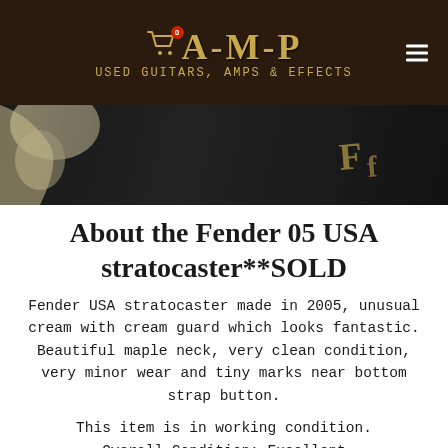[Figure (logo): AMP Used Guitars, Amps & Effects logo with shopping cart icon on dark brown background, hamburger menu icon on right]
[Figure (photo): Close-up photo of a cream Fender Stratocaster guitar on dark background with partial view of headstock and body]
About the Fender 05 USA stratocaster**SOLD
Fender USA stratocaster made in 2005, unusual cream with cream guard which looks fantastic. Beautiful maple neck, very clean condition, very minor wear and tiny marks near bottom strap button.
This item is in working condition.
Overall Condition: Excellent